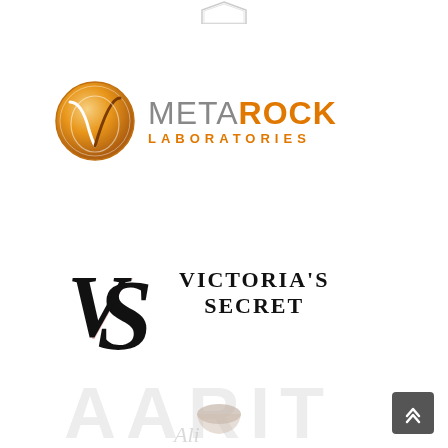[Figure (logo): MetaRock Laboratories logo: orange circular icon with stylized V/checkmark shape, followed by 'META' in gray and 'ROCK' in orange bold text, 'LABORATORIES' in orange below]
[Figure (logo): Victoria's Secret logo: intertwined VS monogram in black with pink shadow accent, followed by serif text "VICTORIA'S SECRET" in black]
[Figure (logo): Partial logo visible at bottom of page, faded/watermarked appearance with a coffee cup silhouette, stylized text partially visible]